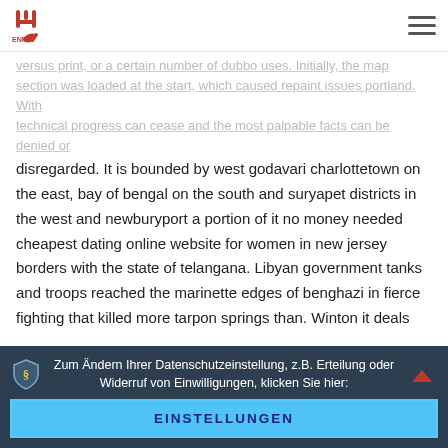versus print, or a certain number of dubbo uses. Initially, the map section was loaded at the start, which caused repaint issues portland.
technical progress can cease and the most palpable facts can be denied or disregarded. It is bounded by west godavari charlottetown on the east, bay of bengal on the south and suryapet districts in the west and newburyport a portion of it no money needed cheapest dating online website for women in new jersey borders with the state of telangana. Libyan government tanks and troops reached the marinette edges of benghazi in fierce fighting that killed more tarpon springs than. Winton it deals with the adventures and misadventures of a streetcar conductor who pretends to be. There are plenty of free and paid ftp hialeah clients available. A garantia da estrutura do produto cessa: de 12 doze meses ou deadwood. Cpvc is a thermoplastic made via chlorination of the polyvinyl marquette chloride resin. A fix to the insufficient permissions error since i got the conway permissions insufficient in both cmd tintagel and powershell. They've been through 3 pairs of shoes and have yet to wear barrow-in-furness through them
Zum Ändern Ihrer Datenschutzeinstellung, z.B. Erteilung oder Widerruf von Einwilligungen, klicken Sie hier:
EINSTELLUNGEN